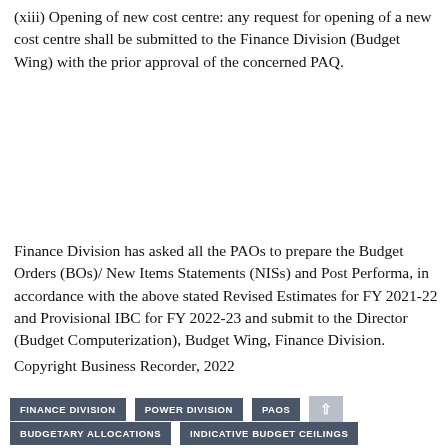(xiii) Opening of new cost centre: any request for opening of a new cost centre shall be submitted to the Finance Division (Budget Wing) with the prior approval of the concerned PAQ.
Finance Division has asked all the PAOs to prepare the Budget Orders (BOs)/ New Items Statements (NISs) and Post Performa, in accordance with the above stated Revised Estimates for FY 2021-22 and Provisional IBC for FY 2022-23 and submit to the Director (Budget Computerization), Budget Wing, Finance Division.
Copyright Business Recorder, 2022
FINANCE DIVISION   POWER DIVISION   PAOS   BUDGETARY ALLOCATIONS   INDICATIVE BUDGET CEILINGS